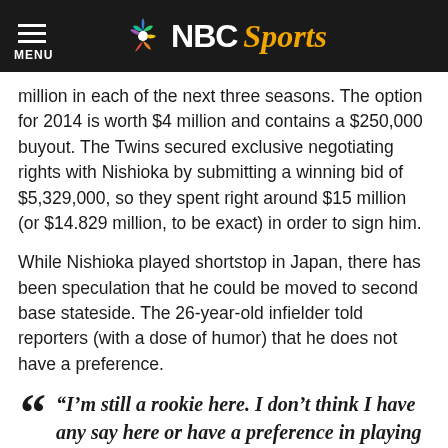[Figure (logo): NBC Sports logo with peacock icon on black header bar, menu icon on left]
million in each of the next three seasons. The option for 2014 is worth $4 million and contains a $250,000 buyout. The Twins secured exclusive negotiating rights with Nishioka by submitting a winning bid of $5,329,000, so they spent right around $15 million (or $14.829 million, to be exact) in order to sign him.
While Nishioka played shortstop in Japan, there has been speculation that he could be moved to second base stateside. The 26-year-old infielder told reporters (with a dose of humor) that he does not have a preference.
“I’m still a rookie here. I don’t think I have any say here or have a preference in playing second base or shortstop,” he said through his translator. “I’m preparing for both. I’ll